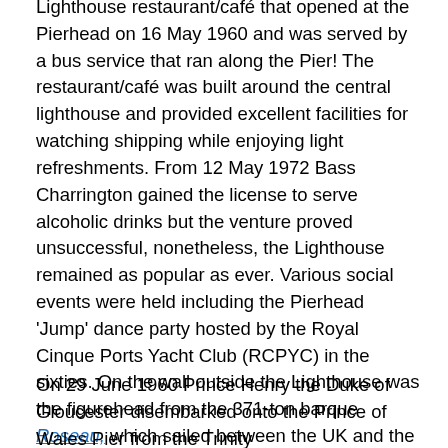Lighthouse restaurant/café that opened at the Pierhead on 16 May 1960 and was served by a bus service that ran along the Pier! The restaurant/café was built around the central lighthouse and provided excellent facilities for watching shipping while enjoying light refreshments. From 12 May 1972 Bass Charrington gained the license to serve alcoholic drinks but the venture proved unsuccessful, nonetheless, the Lighthouse remained as popular as ever. Various social events were held including the Pierhead 'Jump' dance party hosted by the Royal Cinque Ports Yacht Club (RCPYC) in the sixties. On the wall outside the Lighthouse was the figurehead from the 371-ton barque Roseau, which sailed between the UK and the West Indies in the 19th century.
On 29 June 1960 Prince Henry the Duke of Gloucester disembarked onto the Prince of Wales Pier from the Trinity